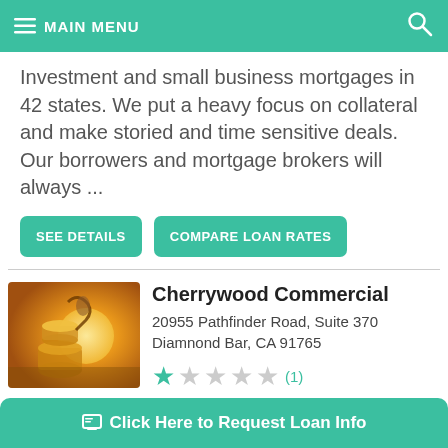MAIN MENU
Investment and small business mortgages in 42 states. We put a heavy focus on collateral and make storied and time sensitive deals. Our borrowers and mortgage brokers will always ...
SEE DETAILS | COMPARE LOAN RATES
Cherrywood Commercial
20955 Pathfinder Road, Suite 370
Diamnd Bar, CA 91765
(1) stars rating
Click Here to Request Loan Info